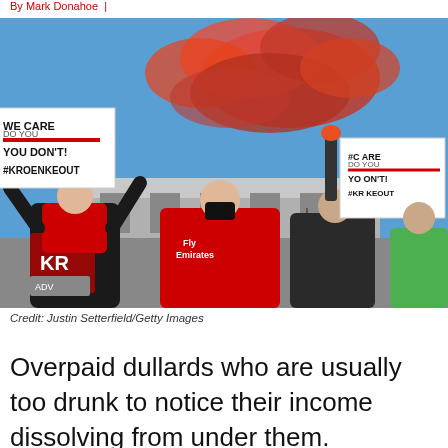By Mark Donahoe | …
[Figure (photo): Arsenal fans outside the Emirates Stadium holding protest signs reading 'WE CARE DO YOU / YOU DON'T! / #KROENKEOUT' with red smoke flares during a protest against owner Stan Kroenke.]
Credit: Justin Setterfield/Getty Images
Overpaid dullards who are usually too drunk to notice their income dissolving from under them.